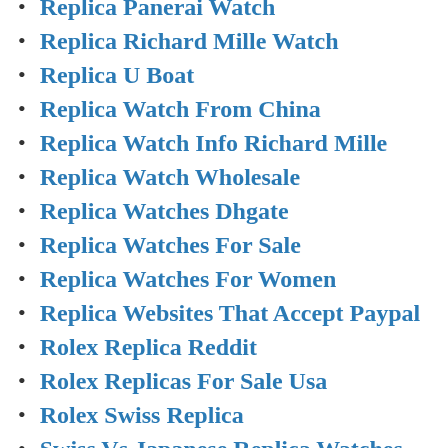Replica Panerai Watch
Replica Richard Mille Watch
Replica U Boat
Replica Watch From China
Replica Watch Info Richard Mille
Replica Watch Wholesale
Replica Watches Dhgate
Replica Watches For Sale
Replica Watches For Women
Replica Websites That Accept Paypal
Rolex Replica Reddit
Rolex Replicas For Sale Usa
Rolex Swiss Replica
Swiss Vs Japanese Replica Watches
Tag Heuer High Copy
Trusted Replica Watch Sites